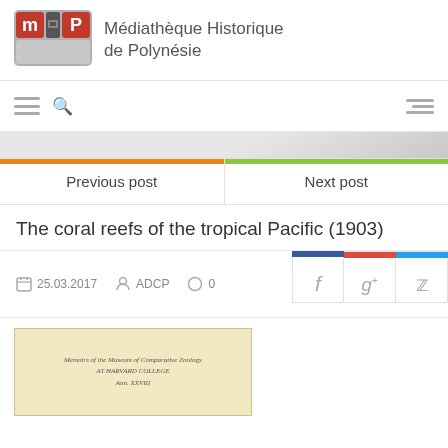[Figure (logo): MHP logo with red and grey squares forming stylized letters, beside text 'Médiathèque Historique de Polynésie']
Médiathèque Historique de Polynésie
Previous post
Next post
The coral reefs of the tropical Pacific (1903)
25.03.2017   ADCP   0
[Figure (photo): Scan of old book title page with text 'Memoirs of the Museum of Comparative Zoology AT HARVARD COLLEGE Ann. XXVIII']